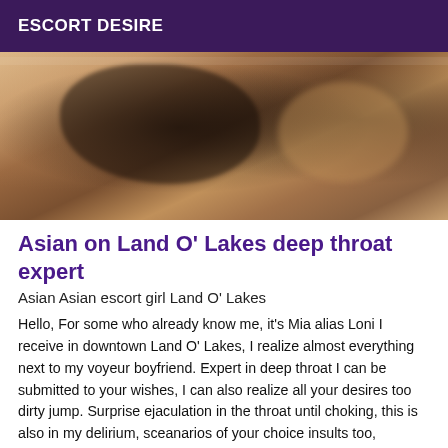ESCORT DESIRE
[Figure (photo): Close-up photo of a person wearing a black bra/lingerie, cropped view]
Asian on Land O' Lakes deep throat expert
Asian Asian escort girl Land O' Lakes
Hello, For some who already know me, it's Mia alias Loni I receive in downtown Land O' Lakes, I realize almost everything next to my voyeur boyfriend. Expert in deep throat I can be submitted to your wishes, I can also realize all your desires too dirty jump. Surprise ejaculation in the throat until choking, this is also in my delirium, sceanarios of your choice insults too, whatever you want, you can come with a boyfriend or two or more, I would make a price per man. Contact me by mail I will